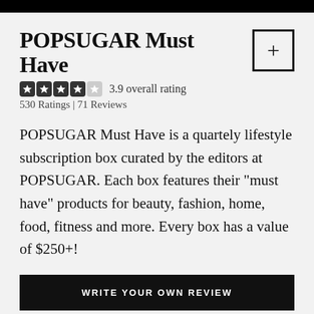POPSUGAR Must Have
3.9 overall rating
530 Ratings | 71 Reviews
POPSUGAR Must Have is a quartely lifestyle subscription box curated by the editors at POPSUGAR. Each box features their "must have" products for beauty, fashion, home, food, fitness and more. Every box has a value of $250+!
WRITE YOUR OWN REVIEW
READ CUSTOMER REVIEWS